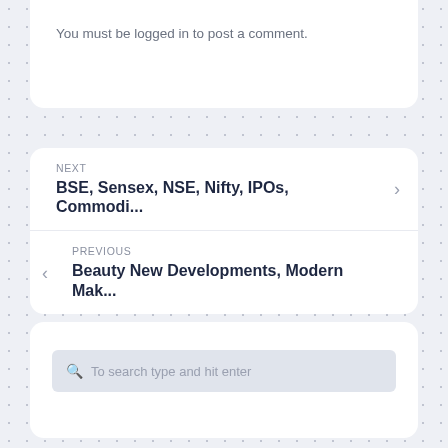You must be logged in to post a comment.
NEXT
BSE, Sensex, NSE, Nifty, IPOs, Commodi...
PREVIOUS
Beauty New Developments, Modern Mak...
To search type and hit enter